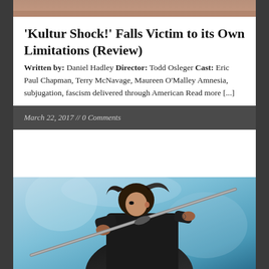[Figure (photo): Top portion of a person, cropped, warm toned background]
'Kultur Shock!' Falls Victim to its Own Limitations (Review)
Written by: Daniel Hadley Director: Todd Osleger Cast: Eric Paul Chapman, Terry McNavage, Maureen O'Malley Amnesia, subjugation, fascism delivered through American Read more [...]
March 22, 2017 // 0 Comments
[Figure (photo): A woman with dark hair holding a katana sword, wearing a black jacket, against a blue icy background]